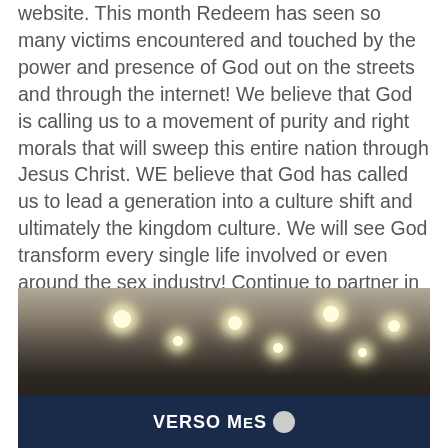website. This month Redeem has seen so many victims encountered and touched by the power and presence of God out on the streets and through the internet! We believe that God is calling us to a movement of purity and right morals that will sweep this entire nation through Jesus Christ. WE believe that God has called us to lead a generation into a culture shift and ultimately the kingdom culture. We will see God transform every single life involved or even around the sex industry! Continue to partner in prayer for us and if you would like to join voluntarily please let us know. We so appreciate all your prayers!
[Figure (photo): Indoor photo showing a room with recessed ceiling lights and a dark banner/sign reading 'VERSO MES' with a logo, against a dark wall.]